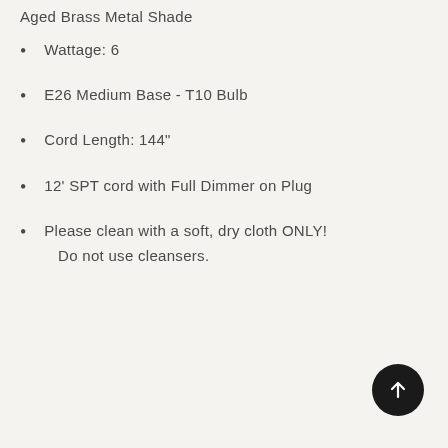Aged Brass Metal Shade
Wattage: 6
E26 Medium Base - T10 Bulb
Cord Length: 144"
12' SPT cord with Full Dimmer on Plug
Please clean with a soft, dry cloth ONLY! Do not use cleansers.